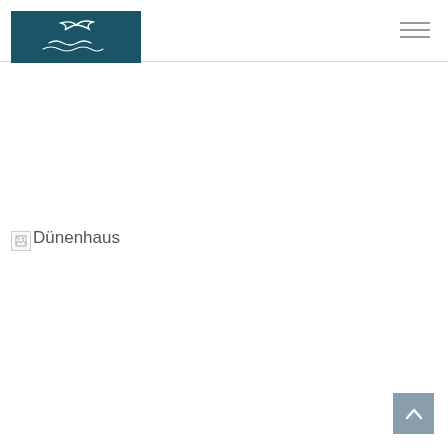[Figure (logo): Dark teal/navy rectangular logo with white line-art bird and wave designs, representing Dünenhaus brand]
[Figure (other): Hamburger menu icon (three horizontal grey lines) in the top right area of the navigation bar]
[Figure (other): Broken image placeholder with alt text 'Dünenhaus' — a small broken-image icon followed by the text 'Dünenhaus']
[Figure (other): Back-to-top button: grey square with white upward chevron/caret arrow in the bottom right corner]